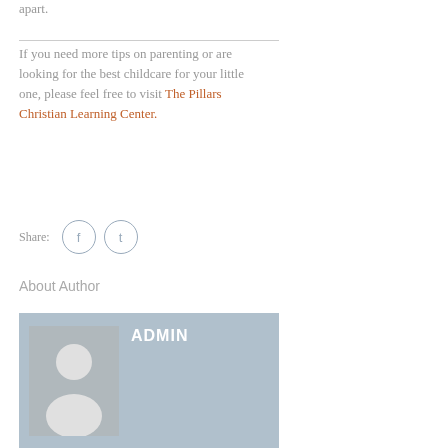apart.
If you need more tips on parenting or are looking for the best childcare for your little one, please feel free to visit The Pillars Christian Learning Center.
Share:
About Author
[Figure (other): Author card with placeholder avatar and ADMIN label on blue-grey background]